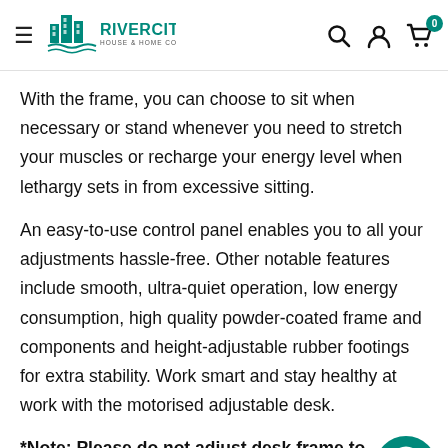River City House & Home Co. — navigation header with search, account, and cart icons
With the frame, you can choose to sit when necessary or stand whenever you need to stretch your muscles or recharge your energy level when lethargy sets in from excessive sitting.
An easy-to-use control panel enables you to all your adjustments hassle-free. Other notable features include smooth, ultra-quiet operation, low energy consumption, high quality powder-coated frame and components and height-adjustable rubber footings for extra stability. Work smart and stay healthy at work with the motorised adjustable desk.
*Note: Please do not adjust desk frame to maximum length as the desk will not move up or